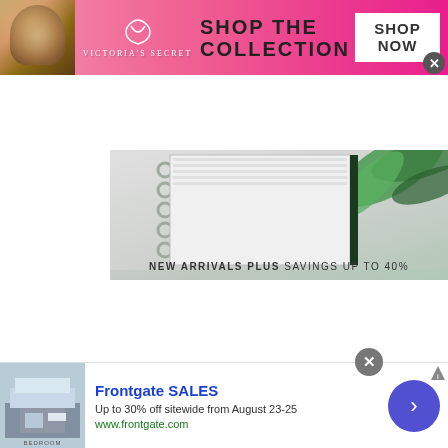[Figure (photo): Victoria's Secret advertisement banner with model, VS logo, 'SHOP THE COLLECTION' text and 'SHOP NOW' button on pink background]
[Figure (photo): Product catalog image showing spiral-bound notebooks/planners with tropical leaf design, text reads 'NEW ARRIVALS PLUS SAVINGS UP TO 40%']
GET DIGITAL CATALOG
[Figure (infographic): Social media icons row: Twitter, Facebook, Pinterest, Email/Envelope icons in dark gray rounded squares]
[Figure (photo): Frontgate SALES advertisement with bedroom image, text: Frontgate SALES, Up to 30% off sitewide from August 23-25, www.frontgate.com]